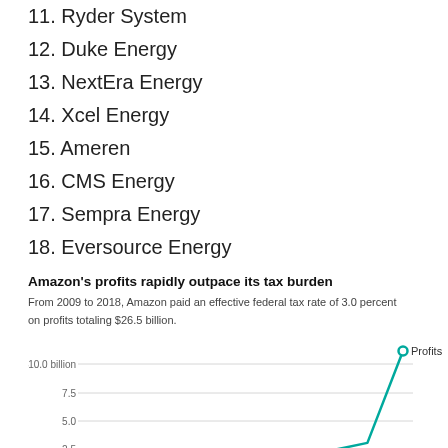11. Ryder System
12. Duke Energy
13. NextEra Energy
14. Xcel Energy
15. Ameren
16. CMS Energy
17. Sempra Energy
18. Eversource Energy
Amazon's profits rapidly outpace its tax burden
From 2009 to 2018, Amazon paid an effective federal tax rate of 3.0 percent on profits totaling $26.5 billion.
[Figure (line-chart): Amazon's profits rapidly outpace its tax burden]